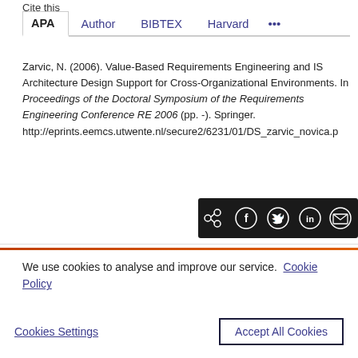Cite this
APA   Author   BIBTEX   Harvard   ...
Zarvic, N. (2006). Value-Based Requirements Engineering and IS Architecture Design Support for Cross-Organizational Environments. In Proceedings of the Doctoral Symposium of the Requirements Engineering Conference RE 2006 (pp. -). Springer. http://eprints.eemcs.utwente.nl/secure2/6231/01/DS_zarvic_novica.p
[Figure (other): Social share bar with icons for share, Facebook, Twitter, LinkedIn, and email on a dark background]
We use cookies to analyse and improve our service.  Cookie Policy
Cookies Settings   Accept All Cookies